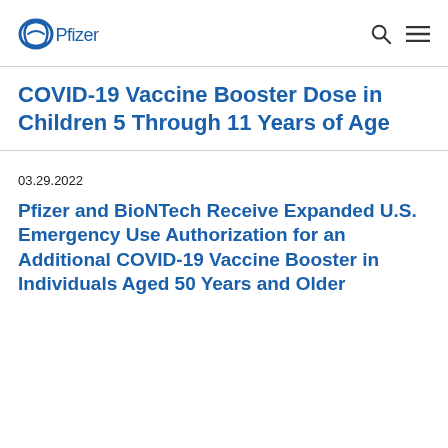Pfizer [logo] [search icon] [menu icon]
COVID-19 Vaccine Booster Dose in Children 5 Through 11 Years of Age
03.29.2022
Pfizer and BioNTech Receive Expanded U.S. Emergency Use Authorization for an Additional COVID-19 Vaccine Booster in Individuals Aged 50 Years and Older